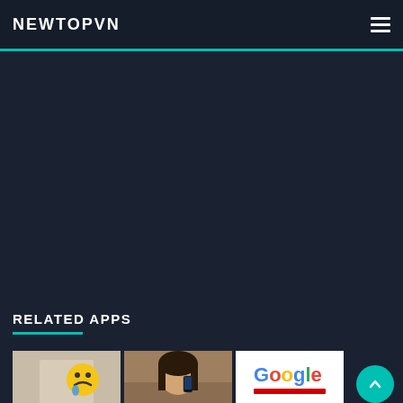NEWTOPVN
[Figure (screenshot): Dark background ad/content area]
RELATED APPS
[Figure (photo): Person with emoji face overlay]
[Figure (photo): Woman holding phone]
[Figure (screenshot): Google logo on white background]